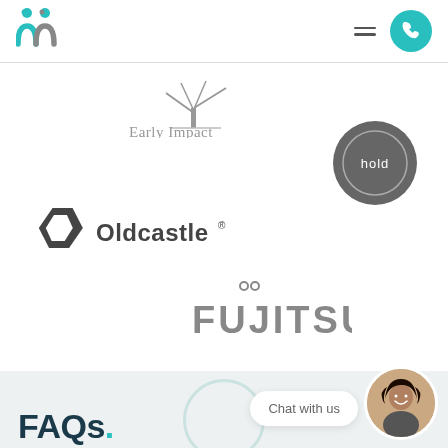[Figure (logo): nn (two people icons) company logo in teal]
[Figure (logo): Hamburger menu icon and teal phone button in header navigation]
[Figure (logo): Early Impact logo with tree icon, gray text]
[Figure (logo): hold logo — dark gray circle with 'hold' text inside a ring]
[Figure (logo): Oldcastle logo with hexagonal icon and text]
[Figure (logo): FUJITSU logo in gray with small circles above]
FAQs.
Chat with us